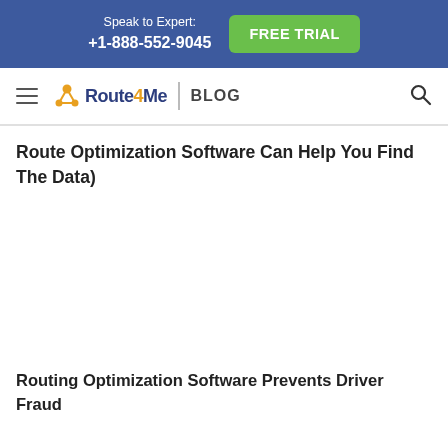Speak to Expert: +1-888-552-9045 | FREE TRIAL
Route4Me | BLOG
Route Optimization Software Can Help You Find The Data)
Routing Optimization Software Prevents Driver Fraud